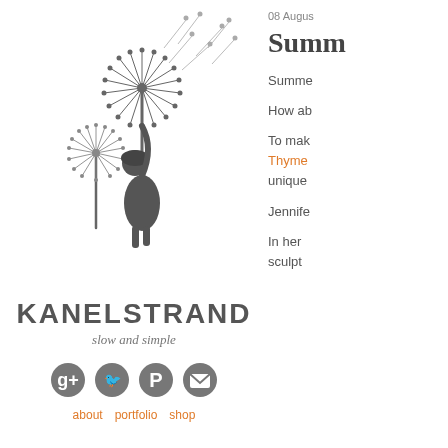[Figure (logo): Kanelstrand blog logo: silhouette of a girl reaching up toward dandelion flowers with seeds blowing away, above text KANELSTRAND and tagline 'slow and simple']
KANELSTRAND
slow and simple
[Figure (infographic): Four social media icons in circles: Google+, Twitter, Pinterest, Email]
about   portfolio   shop
08 Augus
Summ
Summe
How ab
To mak
Thyme
unique
Jennife
In her
sculpt